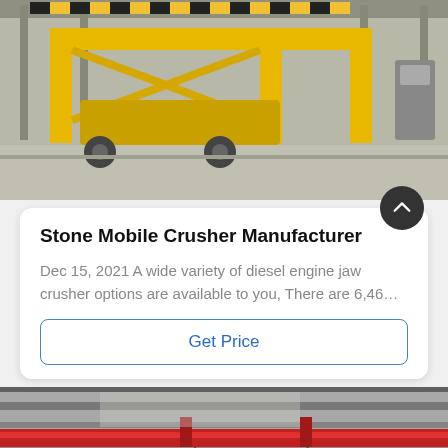[Figure (photo): Yellow industrial mobile crusher/machine inside a factory, viewed from side angle showing yellow steel frame structure on grey concrete floor]
Stone Mobile Crusher Manufacturer
Dec 15, 2021 A wide variety of diesel engine jaw crusher options are available to you, There are 6,46…
Get Price
[Figure (photo): Industrial factory interior showing red crane beam overhead, grey metal structures, and heavy machinery with a white control cabinet on right side, black and white with red accent photo]